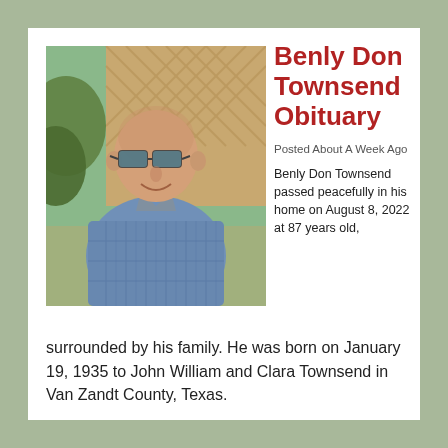[Figure (photo): Elderly man with bald head wearing sunglasses and a blue plaid shirt, smiling, photographed outdoors in front of a wooden lattice fence]
Benly Don Townsend Obituary
Posted About A Week Ago
Benly Don Townsend passed peacefully in his home on August 8, 2022 at 87 years old, surrounded by his family. He was born on January 19, 1935 to John William and Clara Townsend in Van Zandt County, Texas.